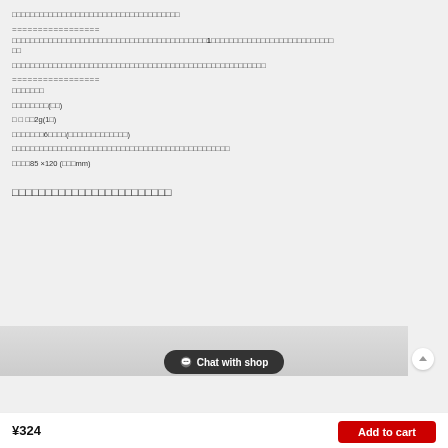□□□□□□□□□□□□□□□□□□□□□□□□□□□□□□□□□□□□□
=================
□□□□□□□□□□□□□□□□□□□□□□□□□□□□□□□□□□□□□□□□□□□1□□□□□□□□□□□□□□□□□□□□□□□□□□□
□□□□□□□□□□□□□□□□□□□□□□□□□□□□□□□□□□□□□□□□□□□□□□□□□□□□□□□□
=================
□□□□□□□
□□□□□□□□(□□)
□ □ □□2g(1□)
□□□□□□□6□□□□(□□□□□□□□□□□□□)
□□□□□□□□□□□□□□□□□□□□□□□□□□□□□□□□□□□□□□□□□□□□□□□□
□□□□85 ×120 (□□□mm)
□□□□□□□□□□□□□□□□□□□□□□□□
[Figure (screenshot): Chat with shop button and product image at bottom of page]
¥324
Add to cart